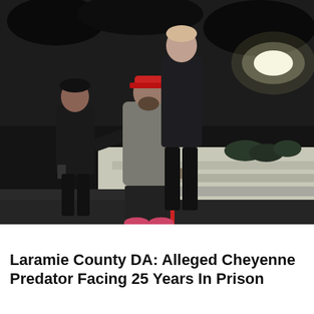[Figure (photo): Night-time arrest scene showing two police officers in dark uniforms handcuffing a man wearing a gray hoodie, dark shorts, and a red cap. The scene is filmed outdoors near a white concrete structure with landscape bushes in the background and bright lights visible in the upper right.]
Laramie County DA: Alleged Cheyenne Predator Facing 25 Years In Prison